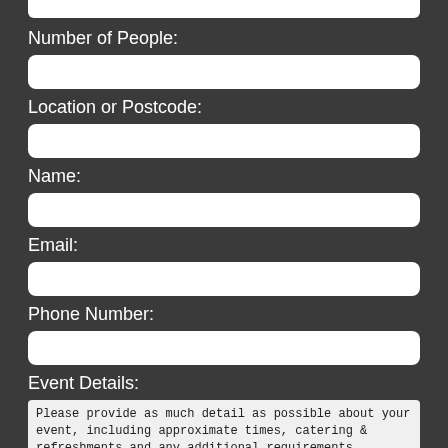Number of People:
Location or Postcode:
Name:
Email:
Phone Number:
Event Details:
Please provide as much detail as possible about your event, including approximate times, catering & refreshments and any additional requirements.
Security question: 5 add 1 =